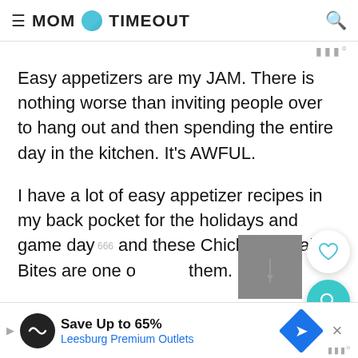MOM ON TIMEOUT
Easy appetizers are my JAM. There is nothing worse than inviting people over to hang out and then spending the entire day in the kitchen. It's AWFUL.
I have a lot of easy appetizer recipes in my back pocket for the holidays and game day and these Chicken Buffalo Bites are one of them.
So easy to prepare and these cheesy little
[Figure (other): Gray image placeholder/thumbnail partially visible]
Save Up to 65% Leesburg Premium Outlets — advertisement banner